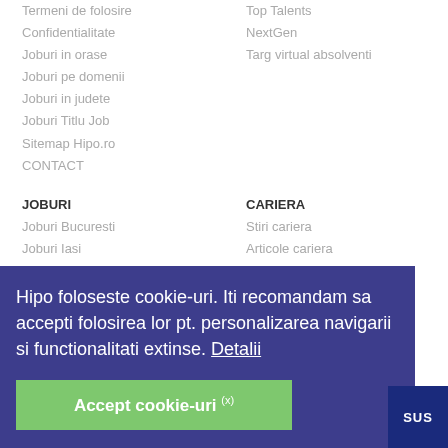Termeni de folosire
Top Talents
Confidentialitate
NextGen
Joburi in orase
Targ virtual absolventi
Joburi pe domenii
Joburi in judete
Joburi Titlu Job
Sitemap Hipo.ro
CONTACT
JOBURI
CARIERA
Joburi Bucuresti
Stiri cariera
Joburi Iasi
Articole cariera
Joburi Timisoara
Ghidul Angajatorilor
Joburi Sibiu
Interviu
Joburi Galati
Job Dictionary
Joburi Ploiesti
Hipo Company News
Joburi Constanta
UTILE
Model CV
Model CV European
Recrutare IT
Teambuilding
Hipo foloseste cookie-uri. Iti recomandam sa accepti folosirea lor pt. personalizarea navigarii si functionalitati extinse. Detalii
Accept cookie-uri (x)
SUS